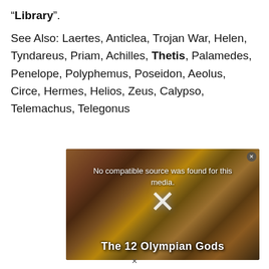“Library”.
See Also: Laertes, Anticlea, Trojan War, Helen, Tyndareus, Priam, Achilles, Thetis, Palamedes, Penelope, Polyphemus, Poseidon, Aeolus, Circe, Hermes, Helios, Zeus, Calypso, Telemachus, Telegonus
[Figure (screenshot): Video player screenshot showing a painting of Greek figures (The 12 Olympian Gods) with a media error overlay reading 'No compatible source was found for this media.' and a large X close icon.]